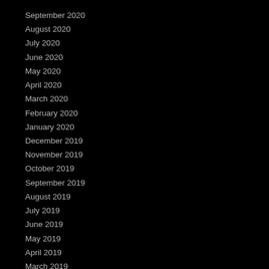September 2020
August 2020
July 2020
June 2020
May 2020
April 2020
March 2020
February 2020
January 2020
December 2019
November 2019
October 2019
September 2019
August 2019
July 2019
June 2019
May 2019
April 2019
March 2019
February 2019
January 2019
December 2018
November 2018
October 2018